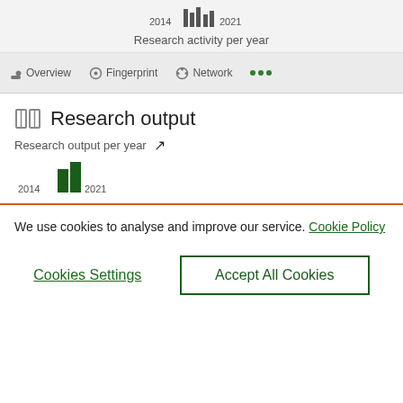[Figure (bar-chart): Research activity per year]
Research activity per year
Overview   Fingerprint   Network   ...
Research output
Research output per year
[Figure (bar-chart): Research output per year]
We use cookies to analyse and improve our service. Cookie Policy
Cookies Settings
Accept All Cookies